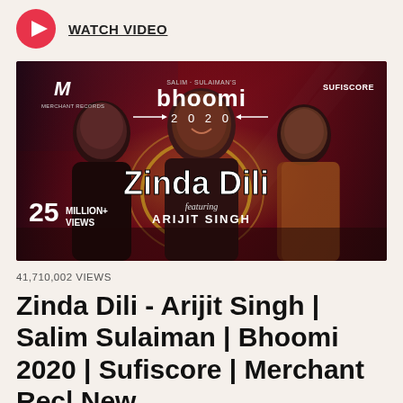WATCH VIDEO
[Figure (screenshot): YouTube video thumbnail for 'Zinda Dili' featuring Arijit Singh from Bhoomi 2020, showing three men against a red dramatic background with text '25 MILLION+ VIEWS', 'Zinda Dili', 'featuring ARIJIT SINGH', Mercury Records and Sufiscore logos]
41,710,002 VIEWS
Zinda Dili - Arijit Singh | Salim Sulaiman | Bhoomi 2020 | Sufiscore | Merchant Rec| New